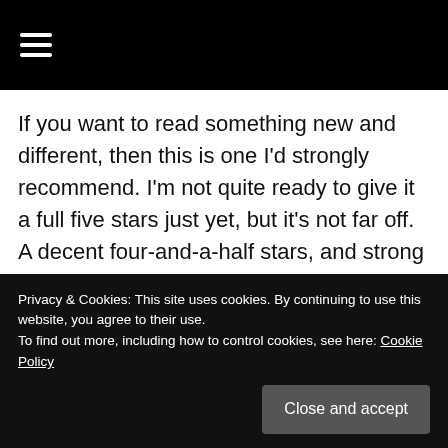☰ (navigation menu)
If you want to read something new and different, then this is one I'd strongly recommend. I'm not quite ready to give it a full five stars just yet, but it's not far off. A decent four-and-a-half stars, and strong desire to read the next part of this truly remarkable story.
Share this:
Privacy & Cookies: This site uses cookies. By continuing to use this website, you agree to their use.
To find out more, including how to control cookies, see here: Cookie Policy
Close and accept